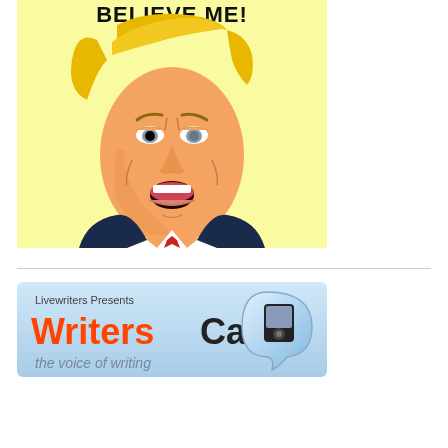[Figure (illustration): Cartoon caricature of a man with blonde swept hair, orange skin tone, open mouth, wearing a dark navy suit with a red tie, on a light yellow background. Text at the top reads 'BELIEVE ME!' in bold black uppercase letters.]
[Figure (logo): WritersCast banner/logo. Light blue background. Top text: 'Livewriters Presents'. Large stylized text: 'Writers' in orange bold font and 'Cast' in black bold font, with a speech bubble icon containing an iPod/music device and a microphone. Below: 'the voice of writing' in grey italic text.]